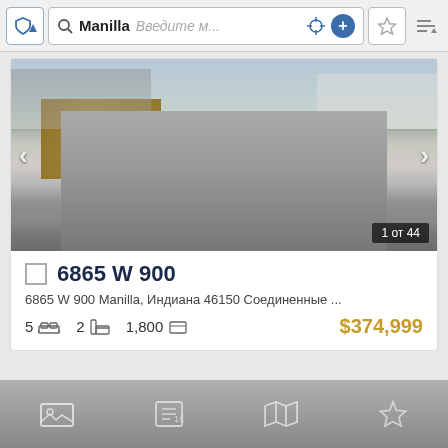Manilla  Введите м...
[Figure (photo): Property driveway photo showing gravel road with wooden fences and white houses in background]
6865 W 900
6865 W 900 Manilla, Индиана 46150 Соединенные ...
5  2  1,800  $374,999
Bottom navigation bar with gallery, contact, map, and favorites icons